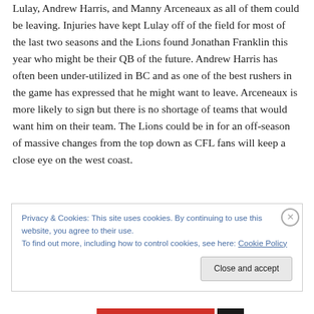Lulay, Andrew Harris, and Manny Arceneaux as all of them could be leaving. Injuries have kept Lulay off of the field for most of the last two seasons and the Lions found Jonathan Franklin this year who might be their QB of the future. Andrew Harris has often been under-utilized in BC and as one of the best rushers in the game has expressed that he might want to leave. Arceneaux is more likely to sign but there is no shortage of teams that would want him on their team. The Lions could be in for an off-season of massive changes from the top down as CFL fans will keep a close eye on the west coast.
Privacy & Cookies: This site uses cookies. By continuing to use this website, you agree to their use.
To find out more, including how to control cookies, see here: Cookie Policy